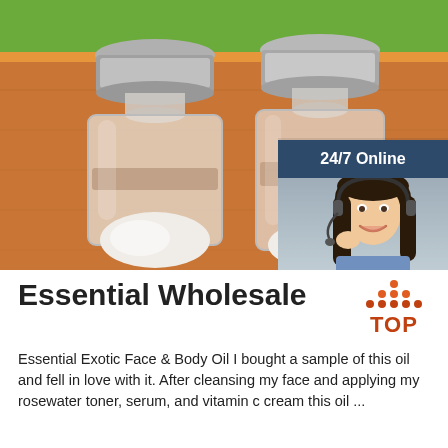[Figure (photo): Two small glass vials/bottles with silver metal caps containing white powder, placed on a wooden surface with green grass visible in the background. An overlay chat widget is in the top right corner with '24/7 Online' label, a woman with a headset, 'Click here for free chat!' text, and an orange QUOTATION button.]
Essential Wholesale
[Figure (logo): Orange and dark red 'TOP' logo with decorative dots above the text forming a triangle/crown shape]
Essential Exotic Face & Body Oil I bought a sample of this oil and fell in love with it. After cleansing my face and applying my rosewater toner, serum, and vitamin c cream this oil ...